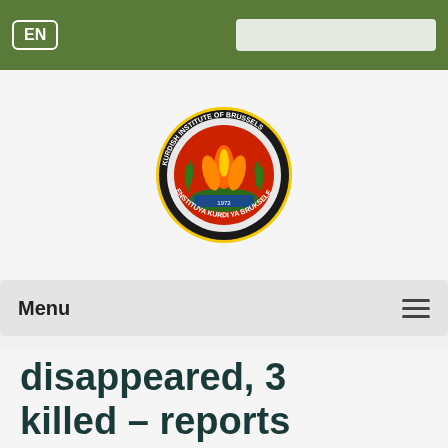EN [search box]
[Figure (logo): Kurdish Institute of Brussels circular logo with flame and green laurel, yellow border ring with text 'KURDISH INSTITUTE OF BRUSSELS' and 'ENSTITUYA KURDI YA BRUKSELE']
Menu
disappeared, 3 killed – reports
Published by KOMNEWS on 19 February 2017